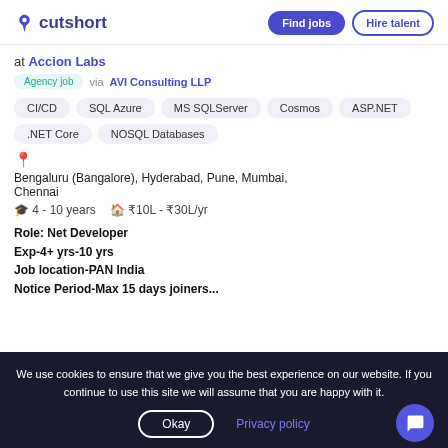cutshort | Find jobs | Hire talent
at Accion Labs
Agency job via AVI Consulting LLP
CI/CD
SQL Azure
MS SQLServer
Cosmos
ASP.NET
.NET Core
NOSQL Databases
Bengaluru (Bangalore), Hyderabad, Pune, Mumbai, Chennai
4 - 10 years   ₹10L - ₹30L/yr
Role: Net Developer
Exp-4+ yrs-10 yrs
Job location-PAN India
Notice Period-Max 15 days joiners...
We use cookies to ensure that we give you the best experience on our website. If you continue to use this site we will assume that you are happy with it.
Okay   Privacy policy